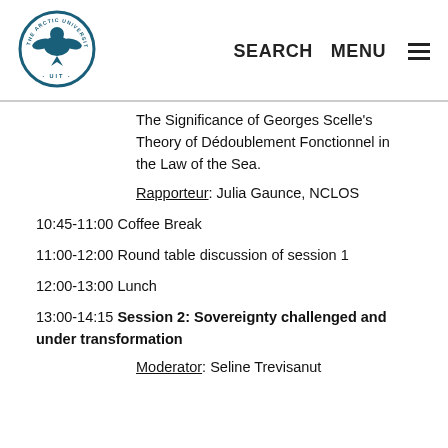The Arctic University of Norway (UIT) — SEARCH MENU
The Significance of Georges Scelle's Theory of Dédoublement Fonctionnel in the Law of the Sea.
Rapporteur: Julia Gaunce, NCLOS
10:45-11:00 Coffee Break
11:00-12:00 Round table discussion of session 1
12:00-13:00 Lunch
13:00-14:15 Session 2: Sovereignty challenged and under transformation
Moderator: Seline Trevisanut